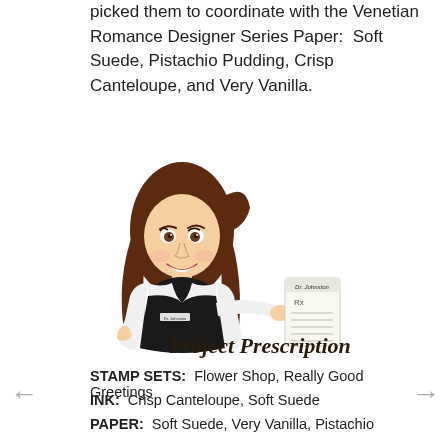picked them to coordinate with the Venetian Romance Designer Series Paper:  Soft Suede, Pistachio Pudding, Crisp Canteloupe, and Very Vanilla.
[Figure (illustration): Cartoon illustration of a woman with long brown hair wearing a white lab coat holding a prescription pad, with 'Project Prescription' text in decorative font below]
STAMP SETS:  Flower Shop, Really Good Greetings
INK:  Crisp Canteloupe, Soft Suede
PAPER:  Soft Suede, Very Vanilla, Pistachio